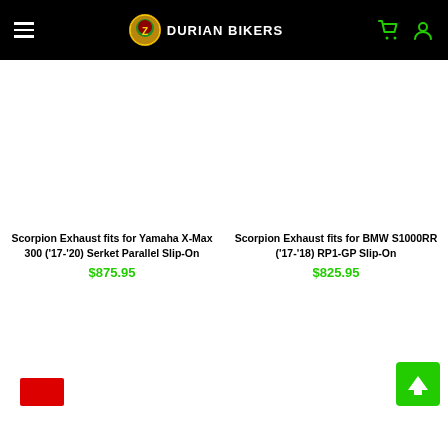DURIAN BIKERS
Scorpion Exhaust fits for Yamaha X-Max 300 ('17-'20) Serket Parallel Slip-On
$875.95
Scorpion Exhaust fits for BMW S1000RR ('17-'18) RP1-GP Slip-On
$825.95